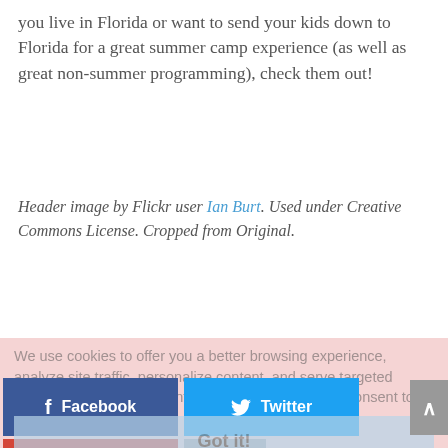you live in Florida or want to send your kids down to Florida for a great summer camp experience (as well as great non-summer programming), check them out!
Header image by Flickr user Ian Burt. Used under Creative Commons License. Cropped from Original.
We use cookies to offer you a better browsing experience, analyze site traffic, personalize content, and serve targeted advertisements. If you continue to use this site, you consent to our use of cookies.
[Figure (screenshot): Social share buttons: Facebook (dark blue), Twitter (light blue), Gmail (red), and a more options button (grey). A pink cookie consent overlay with 'Got it!' button is visible. A grey scroll-to-top arrow button is on the right edge.]